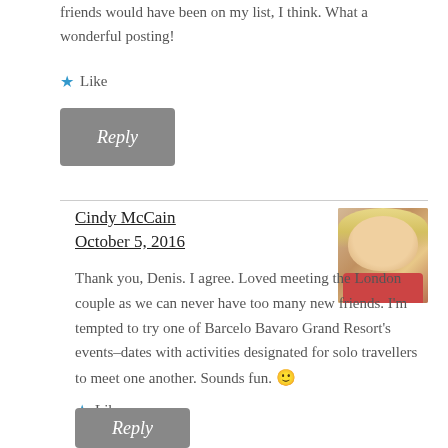friends would have been on my list, I think. What a wonderful posting!
★ Like
Reply
Cindy McCain
October 5, 2016
[Figure (photo): Profile photo of a blonde woman smiling, wearing a red top]
Thank you, Denis. I agree. Loved meeting the London couple as we can never have too many new friends. I'm tempted to try one of Barcelo Bavaro Grand Resort's events–dates with activities designated for solo travellers to meet one another. Sounds fun. 🙂
★ Like
Reply